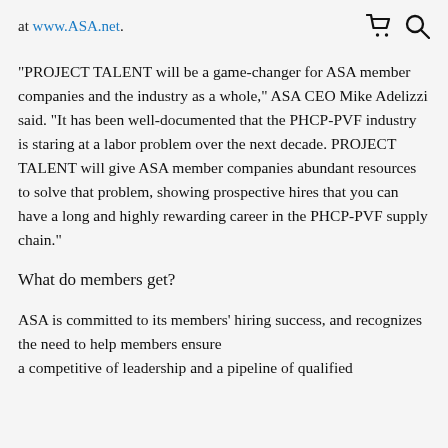at www.ASA.net.
"PROJECT TALENT will be a game-changer for ASA member companies and the industry as a whole," ASA CEO Mike Adelizzi said. "It has been well-documented that the PHCP-PVF industry is staring at a labor problem over the next decade. PROJECT TALENT will give ASA member companies abundant resources to solve that problem, showing prospective hires that you can have a long and highly rewarding career in the PHCP-PVF supply chain."
What do members get?
ASA is committed to its members' hiring success, and recognizes the need to help members ensure a competitive of leadership and a pipeline of qualified...